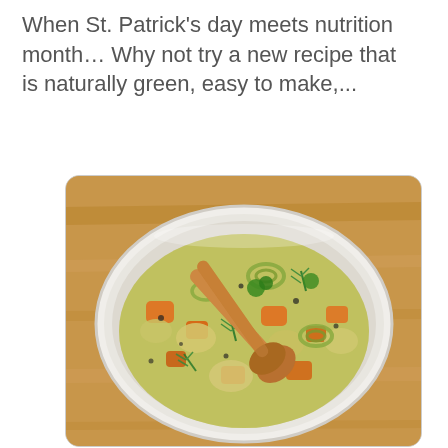When St. Patrick's day meets nutrition month… Why not try a new recipe that is naturally green, easy to make,...
[Figure (photo): A white bowl filled with vegetable soup containing carrots, leeks, potatoes, dill and herbs, with a wooden spoon resting in the bowl, on a wooden surface.]